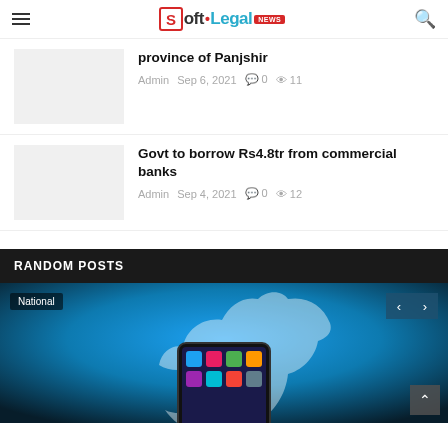Soft.Legal NEWS
province of Panjshir
Admin  Sep 6, 2021  0  11
Govt to borrow Rs4.8tr from commercial banks
Admin  Sep 4, 2021  0  12
RANDOM POSTS
[Figure (photo): Twitter bird logo on dark background with phone showing Twitter app, with National badge and navigation arrows]